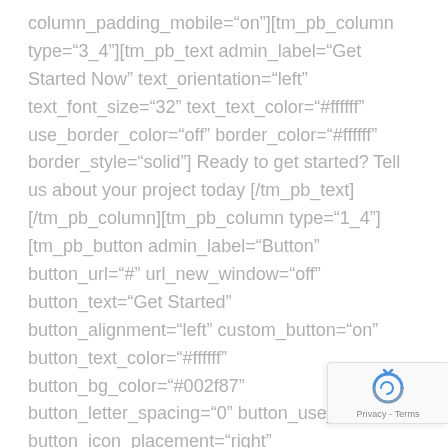column_padding_mobile="on"][tm_pb_column type="3_4"][tm_pb_text admin_label="Get Started Now" text_orientation="left" text_font_size="32" text_text_color="#ffffff" use_border_color="off" border_color="#ffffff" border_style="solid"] Ready to get started? Tell us about your project today [/tm_pb_text][/tm_pb_column][tm_pb_column type="1_4"][tm_pb_button admin_label="Button" button_url="#" url_new_window="off" button_text="Get Started" button_alignment="left" custom_button="on" button_text_color="#ffffff" button_bg_color="#002f87" button_letter_spacing="0" button_use_icon="on" button_icon_placement="right" button_on_hover="off" button_letter_spacing_hover="0"
[Figure (other): reCAPTCHA badge with rotating arrows icon and 'Privacy - Terms' text]